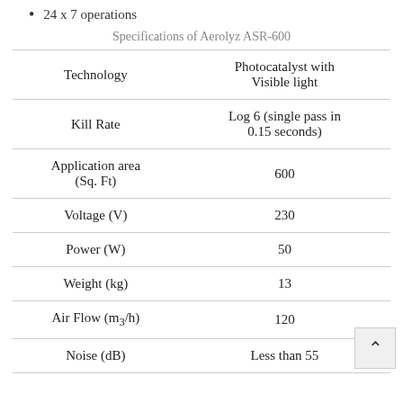24 x 7 operations
Specifications of Aerolyz ASR-600
|  |  |
| --- | --- |
| Technology | Photocatalyst with Visible light |
| Kill Rate | Log 6 (single pass in 0.15 seconds) |
| Application area (Sq. Ft) | 600 |
| Voltage (V) | 230 |
| Power (W) | 50 |
| Weight (kg) | 13 |
| Air Flow (m³/h) | 120 |
| Noise (dB) | Less than 55 |